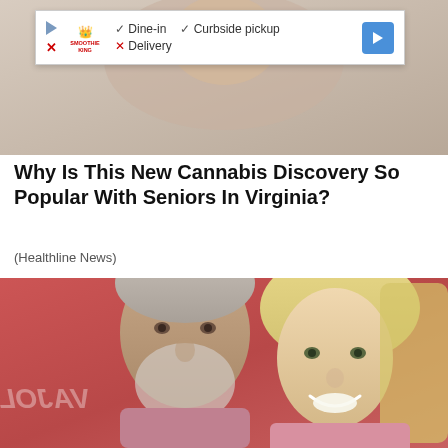[Figure (screenshot): Advertisement banner for Smoothie King showing dine-in, curbside pickup available and delivery not available, with navigation arrow]
Why Is This New Cannabis Discovery So Popular With Seniors In Virginia?
(Healthline News)
[Figure (photo): Photo of two people, an older man with grey beard and a blonde woman, posing together in front of a red backdrop with partial text visible]